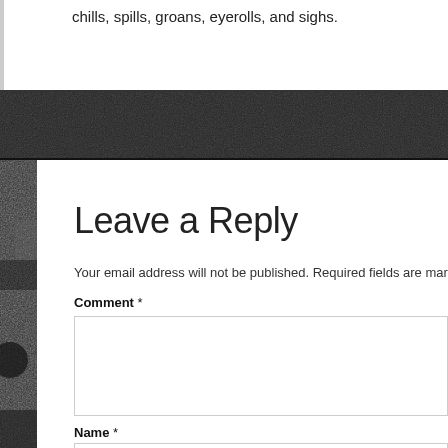chills, spills, groans, eyerolls, and sighs.
[Figure (photo): Dark grainy background photo, black and white, possibly an outdoor night scene.]
Leave a Reply
Your email address will not be published. Required fields are marked
Comment *
Name *